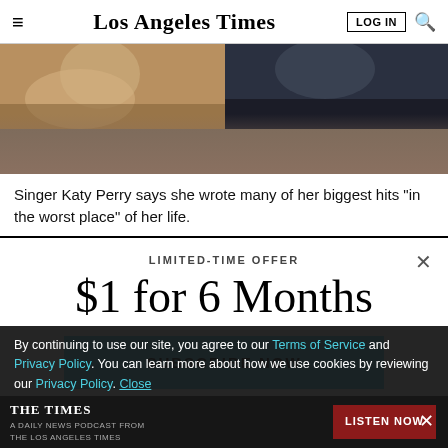Los Angeles Times | LOG IN
[Figure (photo): Two-panel image: left panel shows a person in golden/yellow tones, right panel shows a person in dark blue/black tones. Likely Katy Perry related photo.]
Singer Katy Perry says she wrote many of her biggest hits “in the worst place” of her life.
LIMITED-TIME OFFER
$1 for 6 Months
SUBSCRIBE NOW
By continuing to use our site, you agree to our Terms of Service and Privacy Policy. You can learn more about how we use cookies by reviewing our Privacy Policy. Close